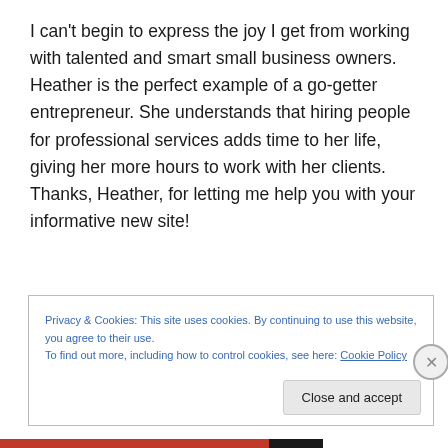I can't begin to express the joy I get from working with talented and smart small business owners. Heather is the perfect example of a go-getter entrepreneur. She understands that hiring people for professional services adds time to her life, giving her more hours to work with her clients. Thanks, Heather, for letting me help you with your informative new site!
Privacy & Cookies: This site uses cookies. By continuing to use this website, you agree to their use.
To find out more, including how to control cookies, see here: Cookie Policy
Close and accept